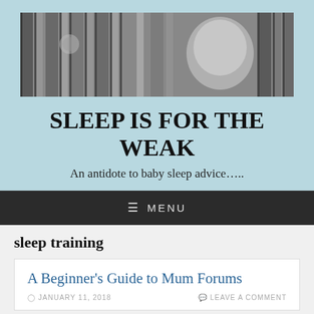[Figure (photo): Black and white photograph of a baby in a crib, viewed through vertical crib bars. A baby's face is visible on the right side, appearing to cry or call out.]
SLEEP IS FOR THE WEAK
An antidote to baby sleep advice…..
≡ MENU
sleep training
A Beginner's Guide to Mum Forums
JANUARY 11, 2018   LEAVE A COMMENT